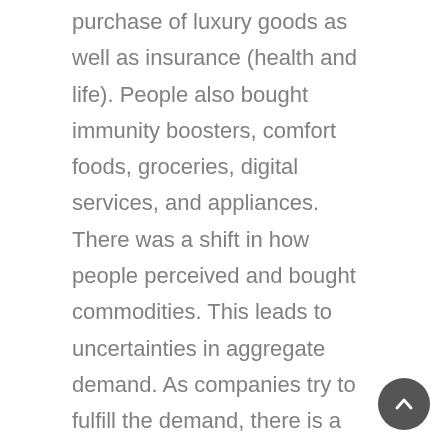purchase of luxury goods as well as insurance (health and life). People also bought immunity boosters, comfort foods, groceries, digital services, and appliances. There was a shift in how people perceived and bought commodities. This leads to uncertainties in aggregate demand. As companies try to fulfill the demand, there is a mismatch between supply and demand. Traditional classical forecasting methods find it difficult to predict demand accurately in today's dynamic business environment. Statistical forecast models rely solely on historical sales data and they fail to evaluate the impact of various other